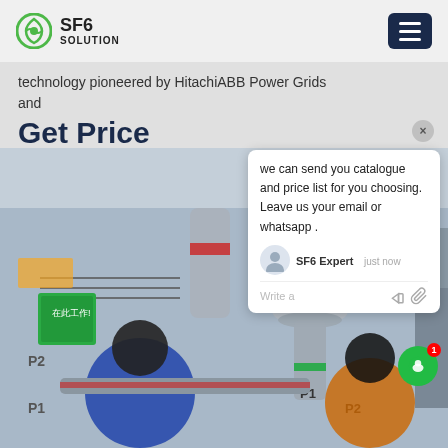SF6 SOLUTION
technology pioneered by HitachiABB Power Grids and
Get Price
we can send you catalogue and price list for you choosing. Leave us your email or whatsapp .
SF6 Expert   just now
Write a
[Figure (photo): Two workers in protective gear working on SF6 gas equipment at a power substation. Large grey industrial piping with red bands visible. Green safety sign in Chinese characters on left. Labels P1 and P2 visible on equipment.]